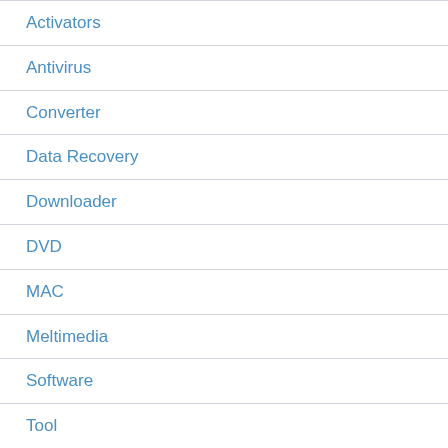Activators
Antivirus
Converter
Data Recovery
Downloader
DVD
MAC
Meltimedia
Software
Tool
Uncategorized